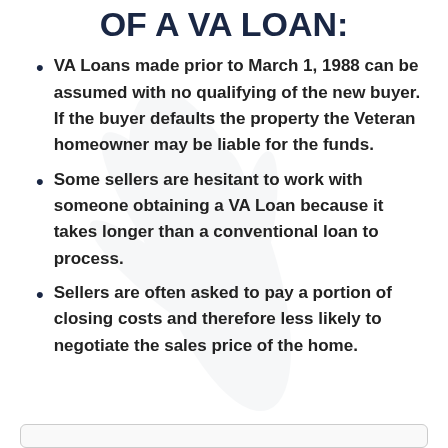OF A VA LOAN:
VA Loans made prior to March 1, 1988 can be assumed with no qualifying of the new buyer. If the buyer defaults the property the Veteran homeowner may be liable for the funds.
Some sellers are hesitant to work with someone obtaining a VA Loan because it takes longer than a conventional loan to process.
Sellers are often asked to pay a portion of closing costs and therefore less likely to negotiate the sales price of the home.